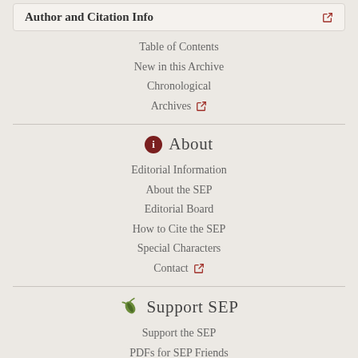Author and Citation Info
Table of Contents
New in this Archive
Chronological
Archives
About
Editorial Information
About the SEP
Editorial Board
How to Cite the SEP
Special Characters
Contact
Support SEP
Support the SEP
PDFs for SEP Friends
Make a Donation